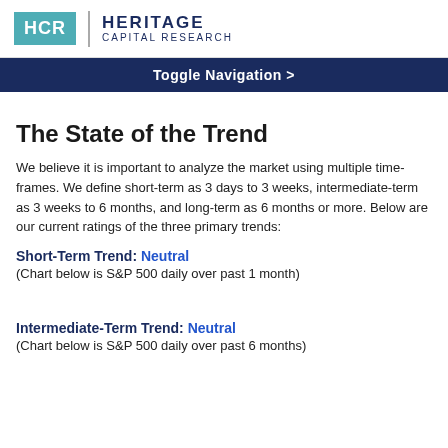HCR | HERITAGE CAPITAL RESEARCH
Toggle Navigation >
The State of the Trend
We believe it is important to analyze the market using multiple time-frames. We define short-term as 3 days to 3 weeks, intermediate-term as 3 weeks to 6 months, and long-term as 6 months or more. Below are our current ratings of the three primary trends:
Short-Term Trend: Neutral
(Chart below is S&P 500 daily over past 1 month)
Intermediate-Term Trend: Neutral
(Chart below is S&P 500 daily over past 6 months)